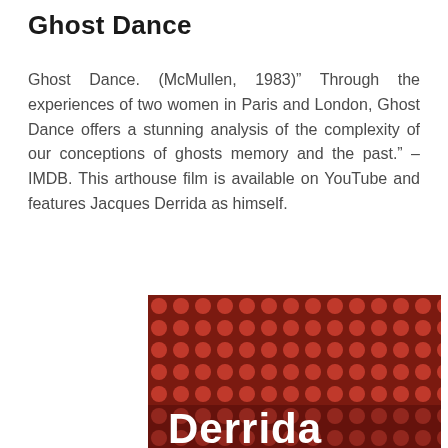Ghost Dance
Ghost Dance. (McMullen, 1983)” Through the experiences of two women in Paris and London, Ghost Dance offers a stunning analysis of the complexity of our conceptions of ghosts memory and the past.” – IMDB. This arthouse film is available on YouTube and features Jacques Derrida as himself.
[Figure (photo): Book or film cover with a red and dark brown/black dot/diamond pattern background and the word 'Derrida' in large white text at the bottom.]